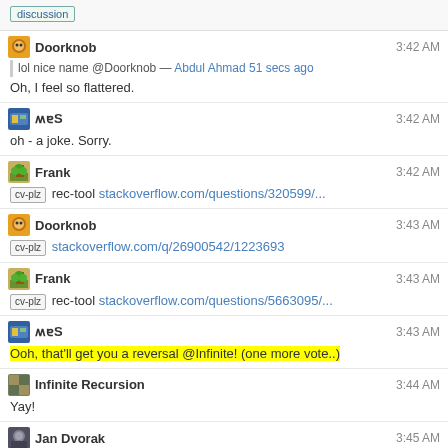discussion
Doorknob 3:42 AM
lol nice name @Doorknob — Abdul Ahmad 51 secs ago
Oh, I feel so flattered.
ʍɐS 3:42 AM
oh - a joke. Sorry.
Frank 3:42 AM
cv-plz rec-tool stackoverflow.com/questions/320599/...
Doorknob 3:43 AM
cv-plz stackoverflow.com/q/26900542/1223693
Frank 3:43 AM
cv-plz rec-tool stackoverflow.com/questions/5663095/...
ʍɐS 3:43 AM
Ooh, that'll get you a reversal @Infinite! (one more vote..)
Infinite Recursion 3:44 AM
Yay!
Jan Dvorak 3:45 AM
@Doorknob do snippets not count as "in the question itself"?